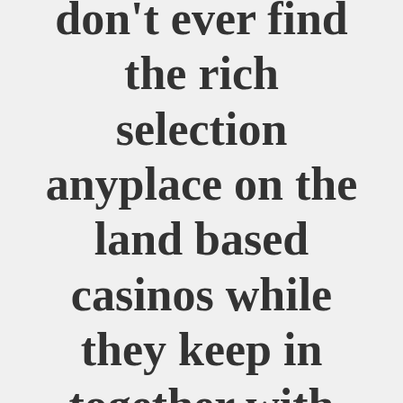don't ever find the rich selection anyplace on the land based casinos while they keep in together with